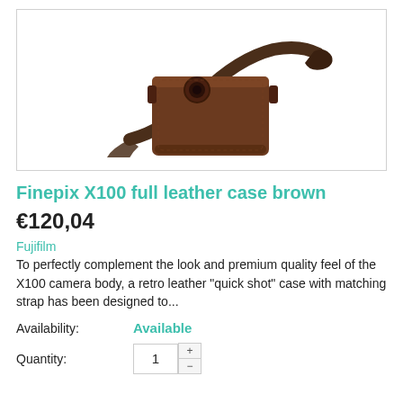[Figure (photo): Brown Fujifilm Finepix X100 full leather case with shoulder strap, shown on white background]
Finepix X100 full leather case brown
€120,04
Fujifilm
To perfectly complement the look and premium quality feel of the X100 camera body, a retro leather "quick shot" case with matching strap has been designed to...
Availability:   Available
Quantity:   1